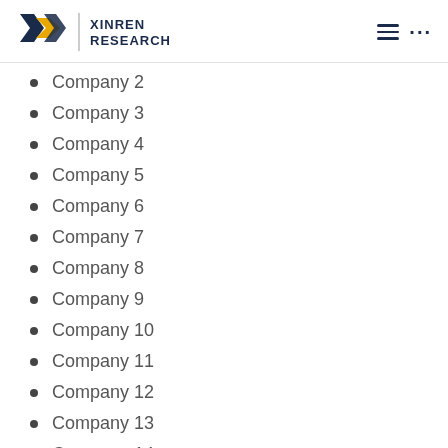XINREN RESEARCH
Company 2
Company 3
Company 4
Company 5
Company 6
Company 7
Company 8
Company 9
Company 10
Company 11
Company 12
Company 13
Company 14
Company 15